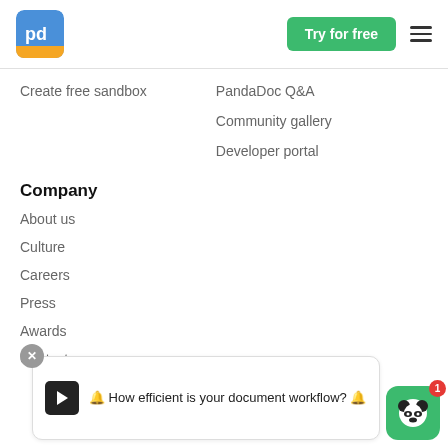PandaDoc — Try for free
Create free sandbox
PandaDoc Q&A
Community gallery
Developer portal
Company
About us
Culture
Careers
Press
Awards
Contact us
🔔 How efficient is your document workflow? 🔔